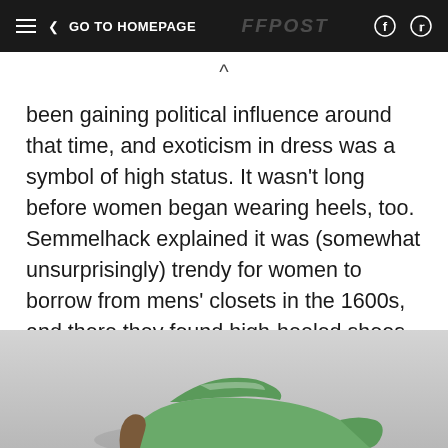GO TO HOMEPAGE
been gaining political influence around that time, and exoticism in dress was a symbol of high status. It wasn't long before women began wearing heels, too. Semmelhack explained it was (somewhat unsurprisingly) trendy for women to borrow from mens' closets in the 1600s, and there they found high-heeled shoes. Never before in the history of mankind did everyone's butts look so fantastic.
[Figure (photo): Photograph of a green historical high-heeled shoe, partially visible at the bottom of the page]